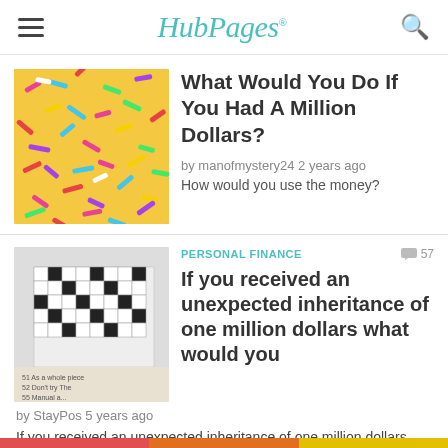HubPages
[Figure (photo): Close-up photo of colorful sprinkles (rainbow candy sprinkles) in pink, blue, yellow, green, red, white]
What Would You Do If You Had A Million Dollars?
by manofmystery24 2 years ago
How would you use the money?
[Figure (photo): Black and white close-up photo of a crossword puzzle with handwritten clue text visible at the bottom]
PERSONAL FINANCE
57
If you received an unexpected inheritance of one million dollars what would you
by StayPos 5 years ago
If you received an unexpected inheritance of one million dollars what would you with the money?Oh and by the way the taxes have already been paid :-)